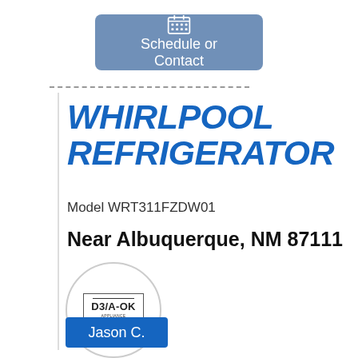[Figure (other): Schedule or Contact button with calendar icon, blue-grey rounded rectangle]
Model WRT311FZDW01
WHIRLPOOL REFRIGERATOR
Near Albuquerque, NM 87111
[Figure (logo): D3/A-OK Appliance Service Inc logo inside a circle]
Jason C.